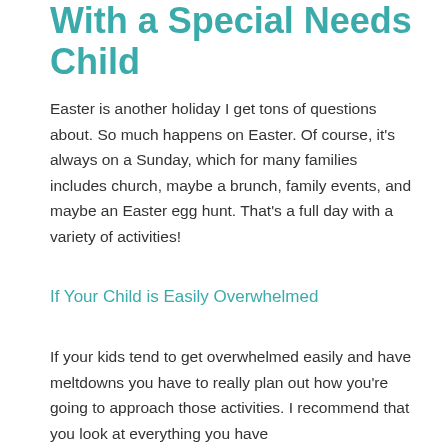With a Special Needs Child
Easter is another holiday I get tons of questions about. So much happens on Easter. Of course, it's always on a Sunday, which for many families includes church, maybe a brunch, family events, and maybe an Easter egg hunt. That's a full day with a variety of activities!
If Your Child is Easily Overwhelmed
If your kids tend to get overwhelmed easily and have meltdowns you have to really plan out how you're going to approach those activities. I recommend that you look at everything you have